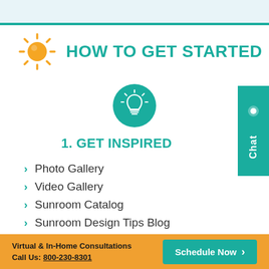[Figure (illustration): Sun icon in orange/yellow with rays]
HOW TO GET STARTED
[Figure (illustration): Lightbulb icon in white on teal circular background]
1. GET INSPIRED
Photo Gallery
Video Gallery
Sunroom Catalog
Sunroom Design Tips Blog
E-newsletter Signup
[Figure (illustration): Teal Chat button on right side]
Virtual & In-Home Consultations Call Us: 800-230-8301  Schedule Now >